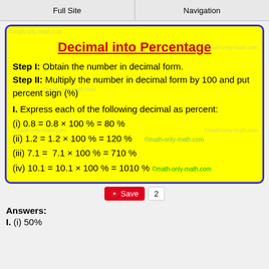Full Site | Navigation
Decimal into Percentage
Step I: Obtain the number in decimal form.
Step II: Multiply the number in decimal form by 100 and put percent sign (%)
I. Express each of the following decimal as percent:
(i) 0.8 = 0.8 × 100 % = 80 %
(ii) 1.2 = 1.2 × 100 % = 120 %
(iii) 7.1 = 7.1 × 100 % = 710 %
(iv) 10.1 = 10.1 × 100 % = 1010 %
Answers:
I. (i) 50%